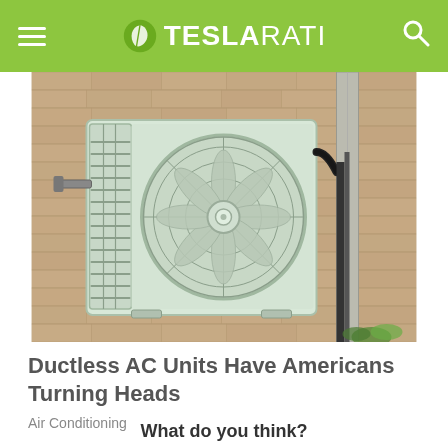TESLARATI
[Figure (photo): Outdoor ductless mini-split air conditioning unit mounted on a brick wall with pipes and conduit visible]
Ductless AC Units Have Americans Turning Heads
Air Conditioning
What do you think?